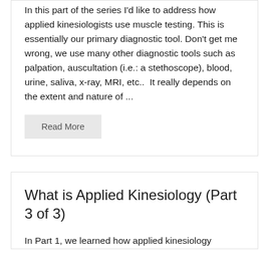In this part of the series I'd like to address how applied kinesiologists use muscle testing. This is essentially our primary diagnostic tool. Don't get me wrong, we use many other diagnostic tools such as palpation, auscultation (i.e.: a stethoscope), blood, urine, saliva, x-ray, MRI, etc..  It really depends on the extent and nature of ...
Read More
What is Applied Kinesiology (Part 3 of 3)
In Part 1, we learned how applied kinesiology